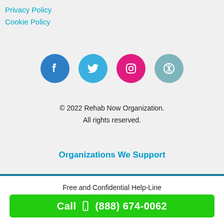Privacy Policy
Cookie Policy
[Figure (illustration): Four social media icons in circles: Facebook (blue), Twitter (light blue), Instagram (pink/magenta), WordPress (teal/grey)]
© 2022 Rehab Now Organization.
All rights reserved.
Organizations We Support
Free and Confidential Help-Line
Call  (888) 674-0062